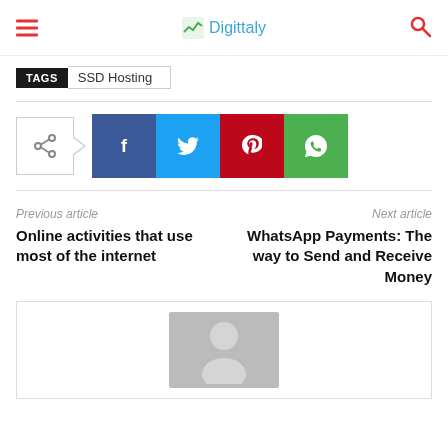Digittaly
TAGS  SSD Hosting
[Figure (infographic): Social share buttons: share icon with arrow, Facebook (blue), Twitter (cyan), Pinterest (red), WhatsApp (green)]
Previous article
Next article
Online activities that use most of the internet
WhatsApp Payments: The way to Send and Receive Money
[Figure (photo): Author avatar placeholder - grey silhouette person icon on grey background]